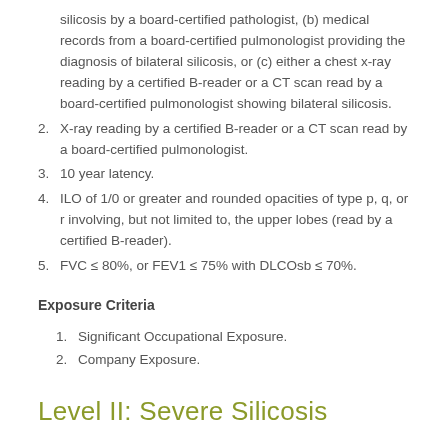silicosis by a board-certified pathologist, (b) medical records from a board-certified pulmonologist providing the diagnosis of bilateral silicosis, or (c) either a chest x-ray reading by a certified B-reader or a CT scan read by a board-certified pulmonologist showing bilateral silicosis.
2. X-ray reading by a certified B-reader or a CT scan read by a board-certified pulmonologist.
3. 10 year latency.
4. ILO of 1/0 or greater and rounded opacities of type p, q, or r involving, but not limited to, the upper lobes (read by a certified B-reader).
5. FVC ≤ 80%, or FEV1 ≤ 75% with DLCOsb ≤ 70%.
Exposure Criteria
1. Significant Occupational Exposure.
2. Company Exposure.
Level II: Severe Silicosis